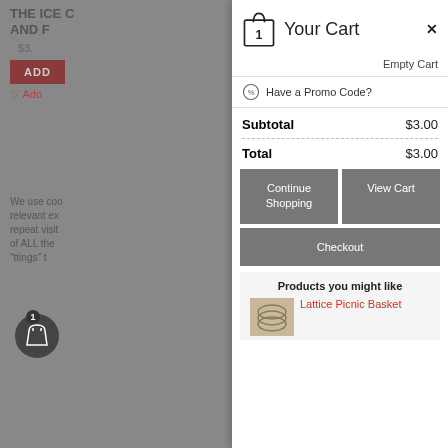[Figure (screenshot): Dimmed e-commerce product page background showing truncated product title, price, ADD button, wishlist link, and cookie notice text]
Your Cart
Empty Cart
Have a Promo Code?
Subtotal $3.00
Total $3.00
Continue Shopping
View Cart
Checkout
Products you might like
Lattice Picnic Basket